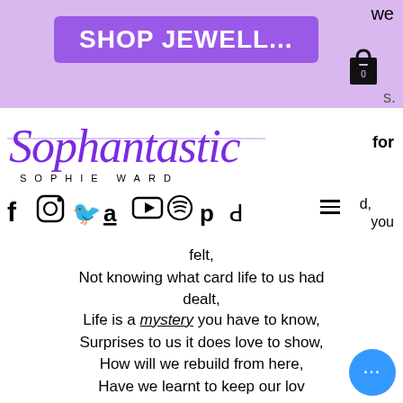[Figure (screenshot): Website header with purple banner showing 'SHOP JEWELL...' button, partial text 'we' in top right, shopping bag icon, and partial letter 's.' at right edge]
[Figure (logo): Sophantastic Sophie Ward logo in purple cursive script with 'SOPHIE WARD' in spaced capitals below. Partial text 'for' visible at right.]
[Figure (infographic): Social media icons row: Facebook, Instagram, Twitter, Amazon, YouTube, Spotify, Pinterest, TikTok, hamburger menu. Partial text 'd,' and 'you' at right.]
felt,
Not knowing what card life to us had dealt,
Life is a mystery you have to know,
Surprises to us it does love to show,
How will we rebuild from here,
Have we learnt to keep our loved ones near?